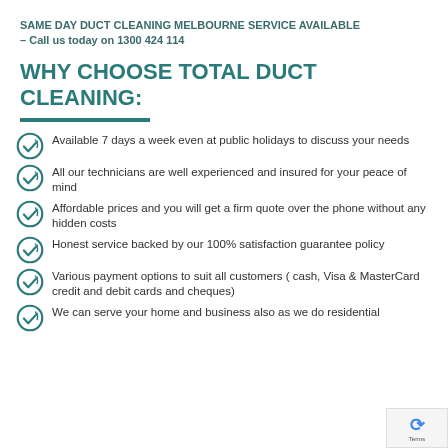SAME DAY DUCT CLEANING MELBOURNE SERVICE AVAILABLE – Call us today on 1300 424 114
WHY CHOOSE TOTAL DUCT CLEANING:
Available 7 days a week even at public holidays to discuss your needs
All our technicians are well experienced and insured for your peace of mind
Affordable prices and you will get a firm quote over the phone without any hidden costs
Honest service backed by our 100% satisfaction guarantee policy
Various payment options to suit all customers ( cash, Visa & MasterCard credit and debit cards and cheques)
We can serve your home and business also as we do residential